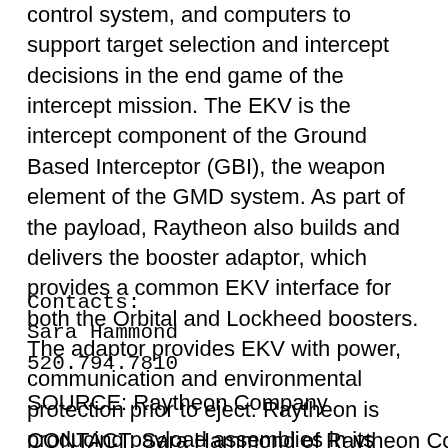control system, and computers to support target selection and intercept decisions in the end game of the intercept mission. The EKV is the intercept component of the Ground Based Interceptor (GBI), the weapon element of the GMD system. As part of the payload, Raytheon also builds and delivers the booster adaptor, which provides a common EKV interface for both the Orbital and Lockheed boosters. The adaptor provides EKV with power, communication and environmental protection prior to eject. Raytheon is producing payload assemblies in its world-class Kinetic Kill Vehicle manufacturing facility.
Contacts:
Sara Hammond
520.794.7810
SOURCE: Raytheon Company
CONTACT: Sara Hammond of Raytheon Company, +1-520...